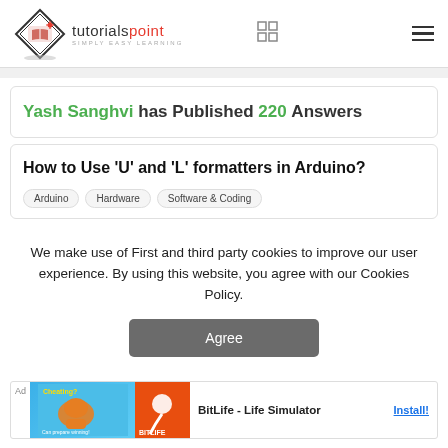tutorialspoint SIMPLY EASY LEARNING
Yash Sanghvi has Published 220 Answers
How to Use 'U' and 'L' formatters in Arduino?
Arduino
Hardware
Software & Coding
We make use of First and third party cookies to improve our user experience. By using this website, you agree with our Cookies Policy.
Agree
[Figure (other): Advertisement banner for BitLife - Life Simulator app with Install button]